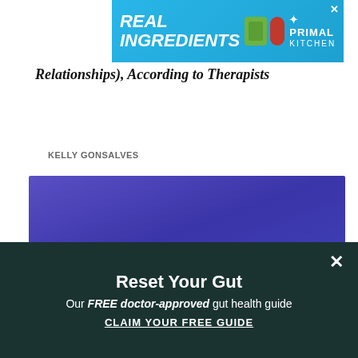[Figure (photo): Advertisement banner for Primal Kitchen showing real ingredients with product images on a blue background]
Relationships), According to Therapists
KELLY GONSALVES
[Figure (photo): Large purple/blue hero image area for article]
Reset Your Gut
Our FREE doctor-approved gut health guide
CLAIM YOUR FREE GUIDE